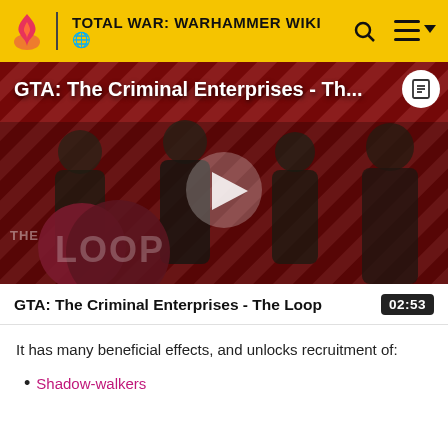TOTAL WAR: WARHAMMER WIKI
[Figure (screenshot): Video thumbnail for GTA: The Criminal Enterprises - The Loop, showing game characters on a red and black striped background with a play button in the center and The Loop logo in the lower left.]
GTA: The Criminal Enterprises - The Loop
It has many beneficial effects, and unlocks recruitment of:
Shadow-walkers